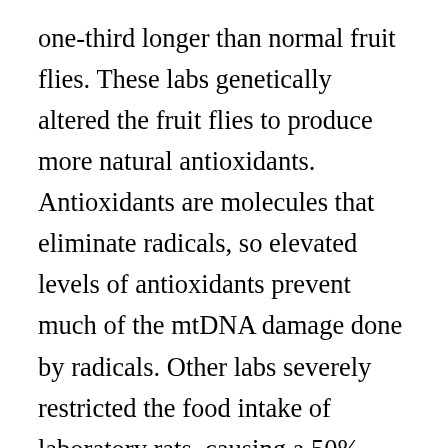one-third longer than normal fruit flies. These labs genetically altered the fruit flies to produce more natural antioxidants. Antioxidants are molecules that eliminate radicals, so elevated levels of antioxidants prevent much of the mtDNA damage done by radicals. Other labs severely restricted the food intake of laboratory rats, causing a 50% increase in maximum lifespan compared to rats allowed to eat freely. The mitochondria of starved rats are not provided with enough material to function at full capacity. Therefore, the electron transport chains in mitochondria of the starved rats pass fewer electrons. With fewer electrons, and fewer radicals